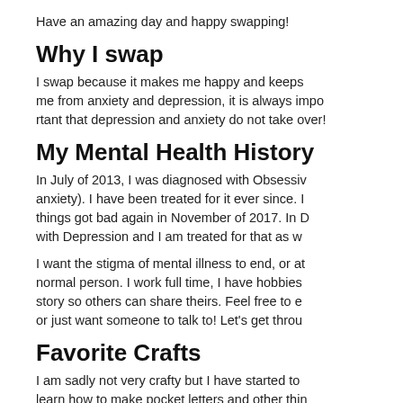Have an amazing day and happy swapping!
Why I swap
I swap because it makes me happy and keeps me from anxiety and depression, it is always important that depression and anxiety do not take over!
My Mental Health History
In July of 2013, I was diagnosed with Obsessive anxiety). I have been treated for it ever since. things got bad again in November of 2017. In D with Depression and I am treated for that as w
I want the stigma of mental illness to end, or at normal person. I work full time, I have hobbies story so others can share theirs. Feel free to e or just want someone to talk to! Let's get throu
Favorite Crafts
I am sadly not very crafty but I have started to learn how to make pocket letters and other thin
I am also learning how to make bookmarks usi
However, I LOVE getting crafts! I recently got a the woman who made it) and it made my day! motivation to become more crafty!